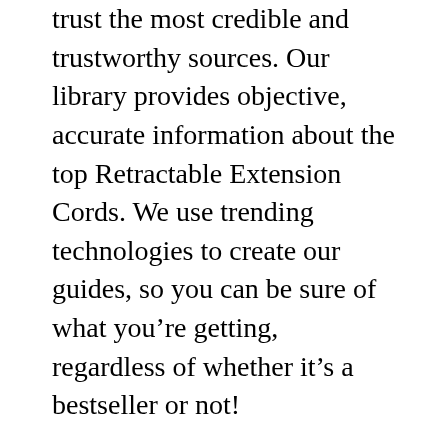trust the most credible and trustworthy sources. Our library provides objective, accurate information about the top Retractable Extension Cords. We use trending technologies to create our guides, so you can be sure of what you're getting, regardless of whether it's a bestseller or not!
Our list is based on objective data from AI and big data, as well as custom algorithms that rank the top 10 options for each category. The list changes frequently as technology advances and new proofreading methods are developed.
We provide a variety of features when